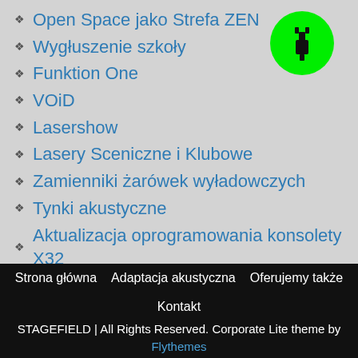Open Space jako Strefa ZEN
Wygłuszenie szkoły
Funktion One
VOiD
Lasershow
Lasery Sceniczne i Klubowe
Zamienniki żarówek wyładowczych
Tynki akustyczne
Aktualizacja oprogramowania konsolety X32
[Figure (illustration): Green circular icon with a power plug symbol]
Strona główna   Adaptacja akustyczna   Oferujemy także   Kontakt
STAGEFIELD | All Rights Reserved. Corporate Lite theme by Flythemes